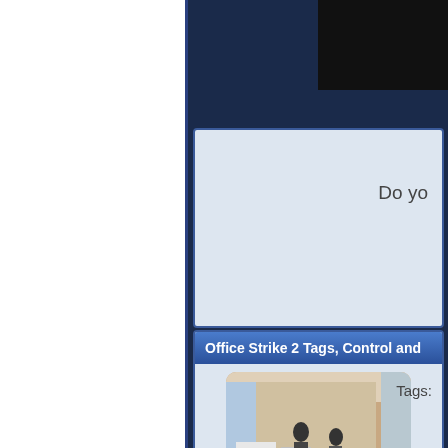[Figure (screenshot): Website screenshot showing Office Strike 2 game page with dark blue background, left white sidebar, and main content area]
Do yo
Office Strike 2 Tags, Control and
[Figure (screenshot): First-person shooter game screenshot showing office environment with multiple enemy characters]
Tags:
Office Strike 2 Related Games
[Figure (screenshot): Related game thumbnail 1]
[Figure (screenshot): Related game thumbnail 2]